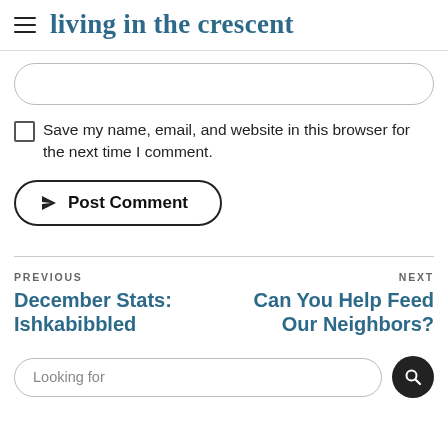living in the crescent
[Figure (other): Empty rounded input field (text input box)]
Save my name, email, and website in this browser for the next time I comment.
Post Comment
PREVIOUS
December Stats: Ishkabibbled
NEXT
Can You Help Feed Our Neighbors?
Looking for